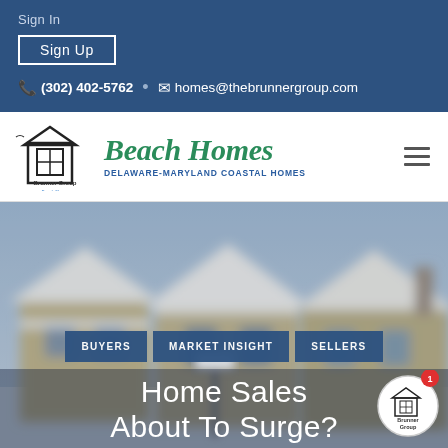Sign In
Sign Up
(302) 402-5762 • homes@thebrunnergroup.com
[Figure (logo): Brunner Group Beach Homes logo with house icon and script text]
Beach Homes
DELAWARE-MARYLAND COASTAL HOMES
[Figure (photo): Blurred winter photo of coastal homes covered in snow]
BUYERS
MARKET INSIGHT
SELLERS
Home Sales About To Surge?
[Figure (logo): Brunner Group circular badge/icon with notification badge showing 1]